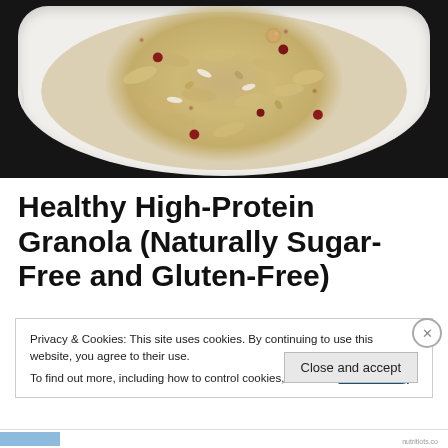[Figure (photo): Overhead photo of granola with oats, nuts, and dried cranberries in a white square dish with handles, set against a dark black background]
Healthy High-Protein Granola (Naturally Sugar-Free and Gluten-Free)
Privacy & Cookies: This site uses cookies. By continuing to use this website, you agree to their use.
To find out more, including how to control cookies, see here: Cookie Policy